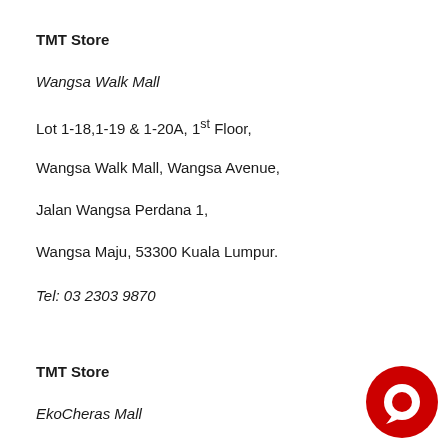TMT Store
Wangsa Walk Mall
Lot 1-18,1-19 & 1-20A, 1st Floor,
Wangsa Walk Mall, Wangsa Avenue,
Jalan Wangsa Perdana 1,
Wangsa Maju, 53300 Kuala Lumpur.
Tel: 03 2303 9870
TMT Store
EkoCheras Mall
[Figure (logo): Red circular logo with white chat bubble icon]